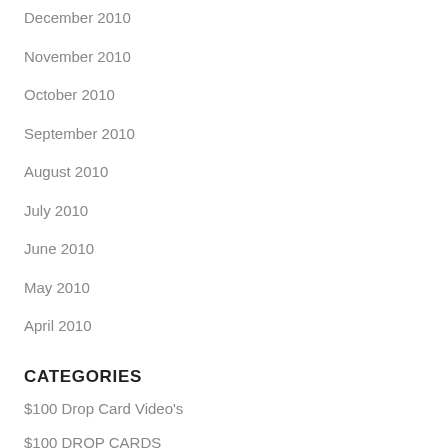December 2010
November 2010
October 2010
September 2010
August 2010
July 2010
June 2010
May 2010
April 2010
CATEGORIES
$100 Drop Card Video's
$100 DROP CARDS
AFFILIATE MARKETING
ARTICLE MARKETING